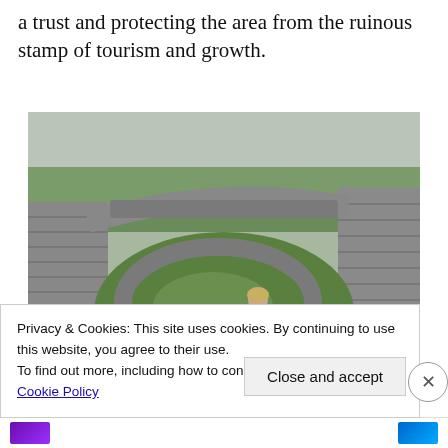a trust and protecting the area from the ruinous stamp of tourism and growth.
[Figure (photo): Ancient stone ring fort with circular dry-stone walls, green grass interior, a person standing inside for scale, and green fields in the background under overcast sky.]
Privacy & Cookies: This site uses cookies. By continuing to use this website, you agree to their use.
To find out more, including how to control cookies, see here: Cookie Policy
Close and accept